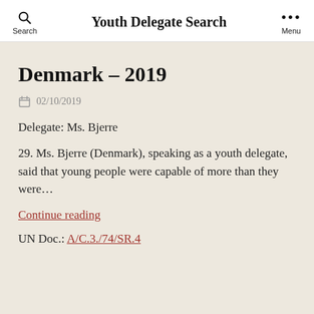Youth Delegate Search
Denmark – 2019
02/10/2019
Delegate: Ms. Bjerre
29. Ms. Bjerre (Denmark), speaking as a youth delegate, said that young people were capable of more than they were…
Continue reading
UN Doc.: A/C.3./74/SR.4